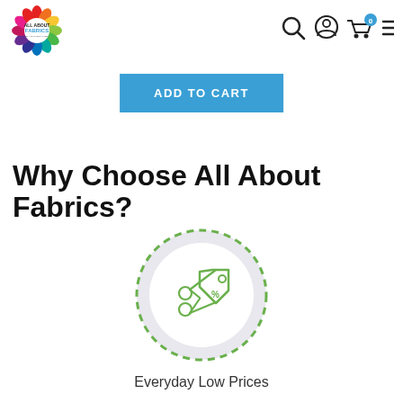[Figure (logo): All About Fabrics colorful logo with rainbow-colored flower/sunburst shape and text 'ALL ABOUT FABRICS']
[Figure (screenshot): Navigation icons: search magnifying glass, user account circle, shopping cart with badge showing 0, hamburger menu]
[Figure (other): Blue 'ADD TO CART' button]
Why Choose All About Fabrics?
[Figure (illustration): Green dashed circle outline with light gray filled circle inside, containing a green line icon of scissors and a price tag with a percent/discount symbol]
Everyday Low Prices